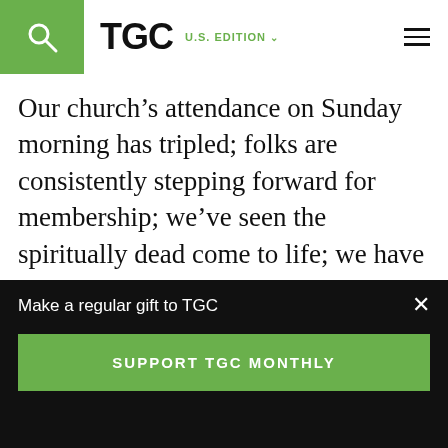TGC U.S. EDITION
Our church’s attendance on Sunday morning has tripled; folks are consistently stepping forward for membership; we’ve seen the spiritually dead come to life; we have seen baptisms each year; the congregation is growing in service; and we believe God is only just beginning his work in our little town of Windsor, Maine.
Make a regular gift to TGC
SUPPORT TGC MONTHLY